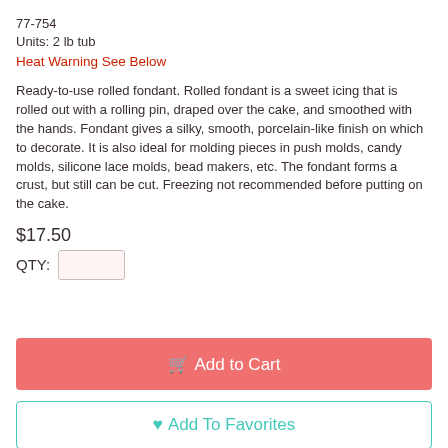77-754
Units: 2 lb tub
Heat Warning See Below
Ready-to-use rolled fondant. Rolled fondant is a sweet icing that is rolled out with a rolling pin, draped over the cake, and smoothed with the hands. Fondant gives a silky, smooth, porcelain-like finish on which to decorate. It is also ideal for molding pieces in push molds, candy molds, silicone lace molds, bead makers, etc. The fondant forms a crust, but still can be cut. Freezing not recommended before putting on the cake.
$17.50
QTY:
Add to Cart
Add To Favorites